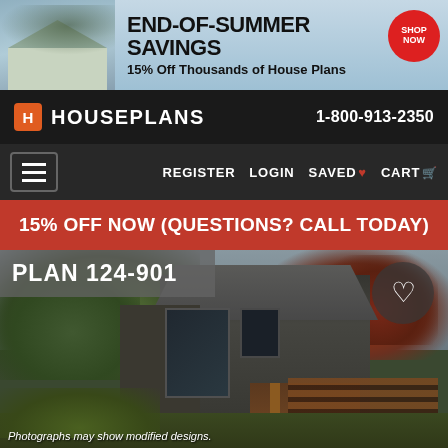[Figure (photo): Banner advertisement for house plans with summer sale promotion. Shows a house photo on the left, bold text 'END-OF-SUMMER SAVINGS' and '15% Off Thousands of House Plans', and a red 'SHOP NOW' circular badge on the right.]
HOUSEPLANS  1-800-913-2350
REGISTER  LOGIN  SAVED ♥  CART 🛒
15% OFF NOW (QUESTIONS? CALL TODAY)
[Figure (photo): Modern two-story house with dark vertical board-and-batten siding, a large sloped roof, surrounded by green trees on the left and red Japanese maple on the right. Has a covered entrance with wood post details, horizontal wood fencing, and landscaped yard. Label 'PLAN 124-901' overlaid in top-left corner.]
Photographs may show modified designs.